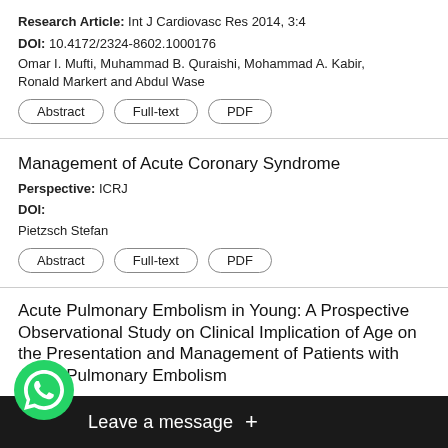Research Article: Int J Cardiovasc Res 2014, 3:4
DOI: 10.4172/2324-8602.1000176
Omar I. Mufti, Muhammad B. Quraishi, Mohammad A. Kabir, Ronald Markert and Abdul Wase
Abstract | Full-text | PDF
Management of Acute Coronary Syndrome
Perspective: ICRJ
DOI:
Pietzsch Stefan
Abstract | Full-text | PDF
Acute Pulmonary Embolism in Young: A Prospective Observational Study on Clinical Implication of Age on the Presentation and Management of Patients with Acute Pulmonary Embolism
Res 2014, 3:4
DOI:
Sour
[Figure (screenshot): WhatsApp 'Leave a message' overlay with green phone icon and dark bubble bar at the bottom of the screen]